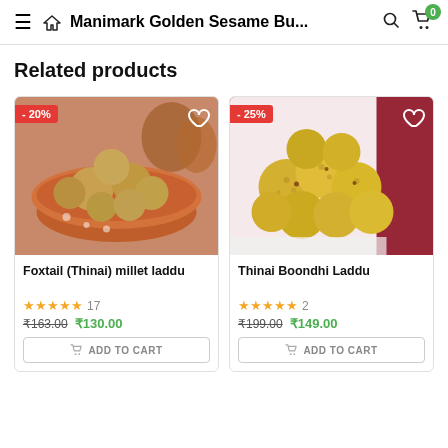Manimark Golden Sesame Bu...
Related products
[Figure (photo): Foxtail (Thinai) millet laddu in an orange clay bowl, with -20% discount badge]
Foxtail (Thinai) millet laddu
★★★★★ 17
₹163.00 ₹130.00
ADD TO CART
[Figure (photo): Thinai Boondhi Laddu on white plate with dark red background, with -25% discount badge]
Thinai Boondhi Laddu
★★★★★ 2
₹199.00 ₹149.00
ADD TO CART